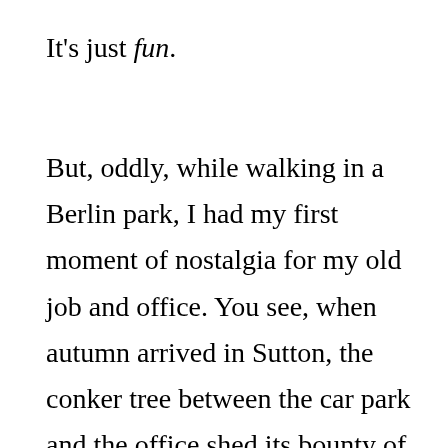It's just fun.
But, oddly, while walking in a Berlin park, I had my first moment of nostalgia for my old job and office. You see, when autumn arrived in Sutton, the conker tree between the car park and the office shed its bounty of conkers, and I was the only one who seemed to care. I stuffed my pockets with them, satiating the desires of my inner eight year old, and built a